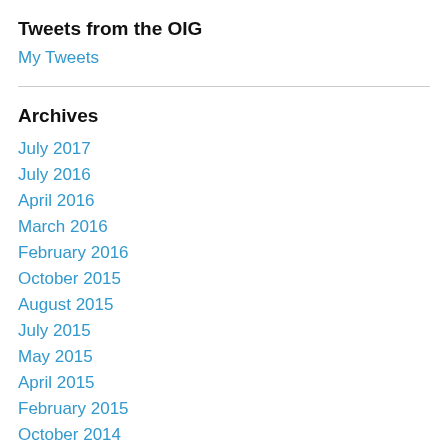Tweets from the OIG
My Tweets
Archives
July 2017
July 2016
April 2016
March 2016
February 2016
October 2015
August 2015
July 2015
May 2015
April 2015
February 2015
October 2014
September 2014